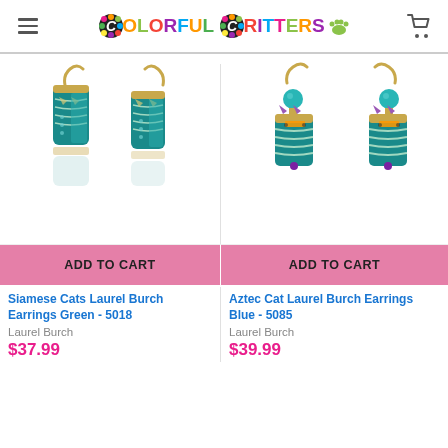Colorful Critters
[Figure (photo): Siamese Cats Laurel Burch Earrings Green - teal/green enamel cat drop earrings with gold hooks]
ADD TO CART
Siamese Cats Laurel Burch Earrings Green - 5018
Laurel Burch
$37.99
[Figure (photo): Aztec Cat Laurel Burch Earrings Blue - teal/blue enamel cat drop earrings with turquoise beads and gold hooks]
ADD TO CART
Aztec Cat Laurel Burch Earrings Blue - 5085
Laurel Burch
$39.99